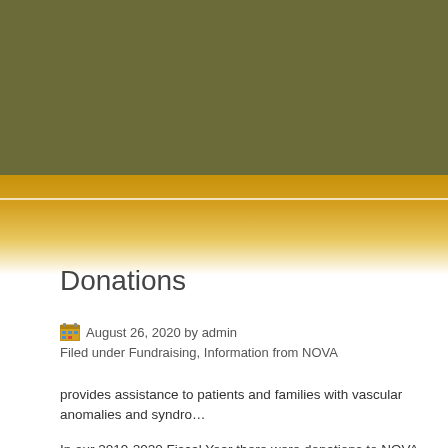Donations
August 26, 2020 by admin
Filed under Fundraising, Information from NOVA
provides assistance to patients and families with vascular anomalies and syndro…
In our 2019-2020 Fiscal Year there were donations to NOVA through:
Network for Good
Giving Tuesday
PayPal
Donations
NOVA Provides information, assistance and support to patients and families thr…